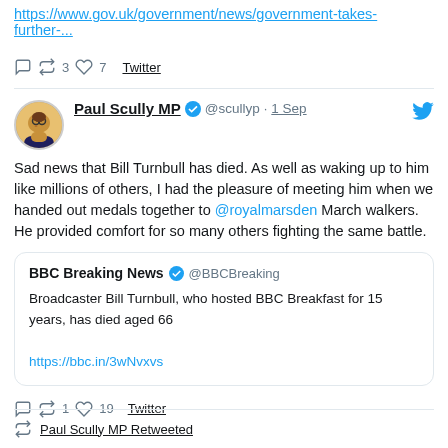https://www.gov.uk/government/news/government-takes-further-...
↩ 3  ♡ 7  Twitter
Paul Scully MP @scullyp · 1 Sep
Sad news that Bill Turnbull has died. As well as waking up to him like millions of others, I had the pleasure of meeting him when we handed out medals together to @royalmarsden March walkers. He provided comfort for so many others fighting the same battle.
BBC Breaking News @BBCBreaking
Broadcaster Bill Turnbull, who hosted BBC Breakfast for 15 years, has died aged 66
https://bbc.in/3wNvxvs
↩ 1  ♡ 19  Twitter
Paul Scully MP Retweeted